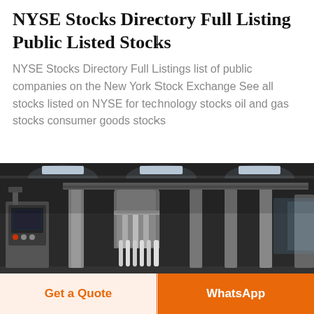NYSE Stocks Directory Full Listing Public Listed Stocks
NYSE Stocks Directory Full Listings list of public companies on the New York Stock Exchange See all stocks listed on NYSE for technology stocks oil and gas stocks consumer goods stocks
[Figure (photo): Industrial factory floor with stainless steel machinery and equipment inside a large warehouse with dark ceiling and overhead lighting]
Get a Quote
WhatsApp